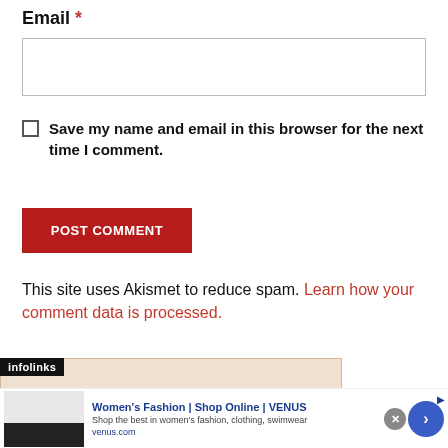Email *
[Figure (screenshot): Empty text input box for email field]
Save my name and email in this browser for the next time I comment.
POST COMMENT
This site uses Akismet to reduce spam. Learn how your comment data is processed.
[Figure (screenshot): Infolinks ad banner showing Women's Fashion | Shop Online | VENUS advertisement]